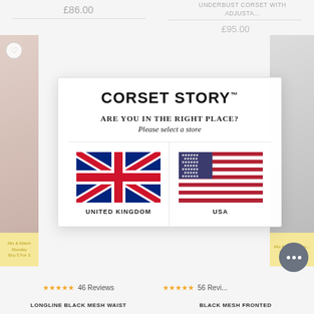£86.00
UNDERBUST CORSET WITH ADJUSTA...
£95.00
[Figure (screenshot): Corset Story website modal popup asking 'Are you in the right place?' with store selection for United Kingdom and USA flags]
46 Reviews
56 Reviews
LONGLINE BLACK MESH WAIST
BLACK MESH FRONTED